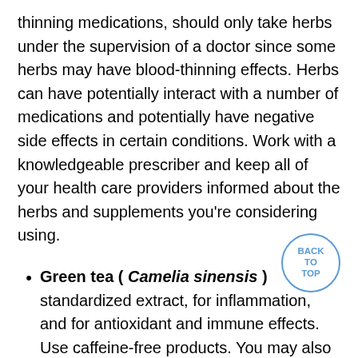thinning medications, should only take herbs under the supervision of a doctor since some herbs may have blood-thinning effects. Herbs can have potentially interact with a number of medications and potentially have negative side effects in certain conditions. Work with a knowledgeable prescriber and keep all of your health care providers informed about the herbs and supplements you're considering using.
Green tea ( Camelia sinensis ) standardized extract, for inflammation, and for antioxidant and immune effects. Use caffeine-free products. You may also prepare teas from the leaf of this herb. Green tea can potentially interact with a number of medications, including birth control pills and antibiotics. Speak with your physician.
Bromelain ( Ananus comosus ) standardized, for inflammation. Bromelain has anticoagulant effects. It